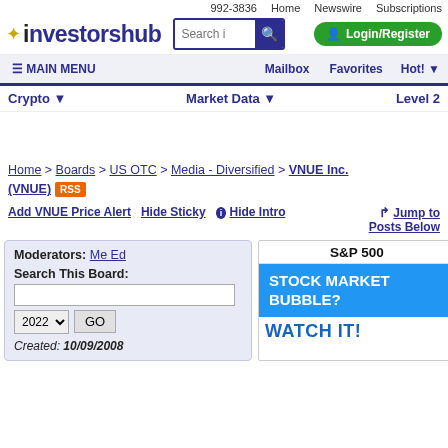992-3836  Home  Newswire  Subscriptions
[Figure (logo): InvestorsHub logo with search box and Login/Register button]
MAIN MENU  Mailbox  Favorites  Hot!
Crypto  Market Data  Level 2
Home > Boards > US OTC > Media - Diversified > VNUE Inc. (VNUE) RSS
Add VNUE Price Alert   Hide Sticky   Hide Intro   Jump to Posts Below
| Field | Value |
| --- | --- |
| Moderators: | Me Ed |
| Search This Board: |  |
| Year | 2022 |
| Created: | 10/09/2008 |
[Figure (screenshot): S&P 500 widget showing 'STOCK MARKET BUBBLE? WATCH IT!' advertisement]